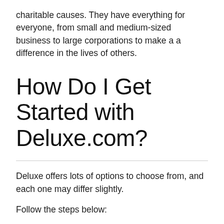charitable causes. They have everything for everyone, from small and medium-sized business to large corporations to make a a difference in the lives of others.
How Do I Get Started with Deluxe.com?
Deluxe offers lots of options to choose from, and each one may differ slightly.
Follow the steps below: